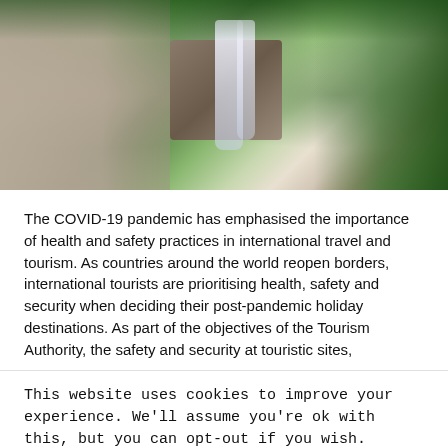[Figure (photo): A woman with blonde hair viewed from behind, looking at a tropical waterfall surrounded by lush green foliage and rocky cliffs.]
The COVID-19 pandemic has emphasised the importance of health and safety practices in international travel and tourism. As countries around the world reopen borders, international tourists are prioritising health, safety and security when deciding their post-pandemic holiday destinations. As part of the objectives of the Tourism Authority, the safety and security at touristic sites,
This website uses cookies to improve your experience. We'll assume you're ok with this, but you can opt-out if you wish.
Accept  Reject  Read More